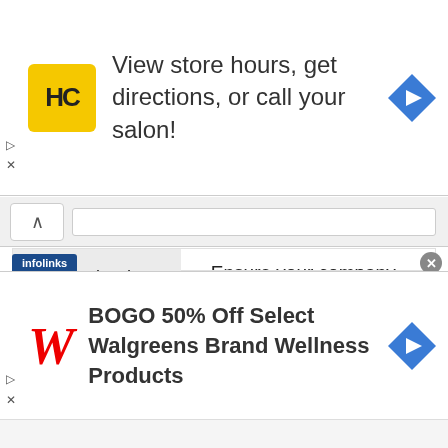[Figure (screenshot): Top advertisement banner for a hair care salon showing HC logo, text 'View store hours, get directions, or call your salon!' and a blue navigation arrow icon]
Finance is where you:
– Ensure your company has the funds it needs to grow
– Issue stock or borrow money (short
[Figure (screenshot): Bottom advertisement banner for Walgreens showing W logo, text 'BOGO 50% Off Select Walgreens Brand Wellness Products' and a blue navigation arrow icon]